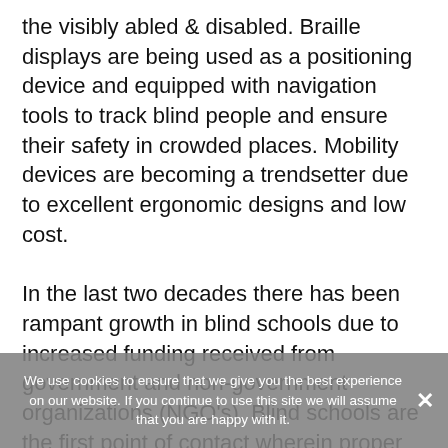the visibly abled & disabled. Braille displays are being used as a positioning device and equipped with navigation tools to track blind people and ensure their safety in crowded places. Mobility devices are becoming a trendsetter due to excellent ergonomic designs and low cost.

In the last two decades there has been rampant growth in blind schools due to increased funding received from government and non-government organizations (NGO's). Blind schools are the first point of contact wherein proper orientation and knowledge is imparted to the visually impaired population which results in independence and operational efficiency in daily chores and activities. Technological advancement in the eye health sector has resulted in impressive assistive technologies pertaining to mobility devices and low vision devices has resulted in tremendous demand for
We use cookies to ensure that we give you the best experience on our website. If you continue to use this site we will assume that you are happy with it.